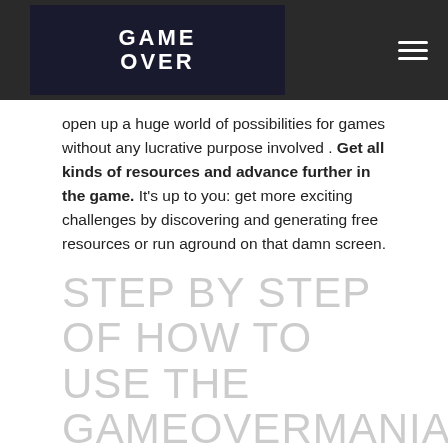GAME OVER
open up a huge world of possibilities for games without any lucrative purpose involved . Get all kinds of resources and advance further in the game. It's up to you: get more exciting challenges by discovering and generating free resources or run aground on that damn screen.
STEP BY STEP OF HOW TO USE THE GAMEOVERMANIA GENERATOR
Do you want to know how to generate Money Cube for free for GAMEOVERMANIA ? Next, we are going to